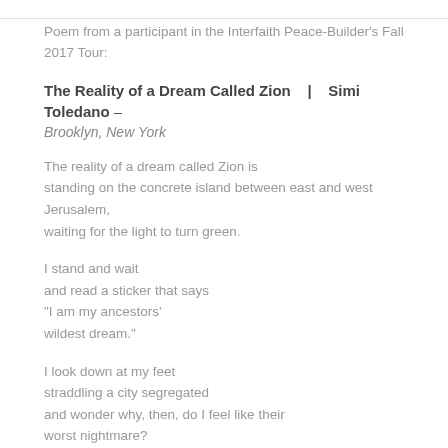Poem from a participant in the Interfaith Peace-Builder's Fall 2017 Tour:
The Reality of a Dream Called Zion | Simi Toledano – Brooklyn, New York
The reality of a dream called Zion is
standing on the concrete island between east and west Jerusalem,
waiting for the light to turn green.
I stand and wait
and read a sticker that says
“I am my ancestors’
wildest dream.”
I look down at my feet
straddling a city segregated
and wonder why, then, do I feel like their
worst nightmare?